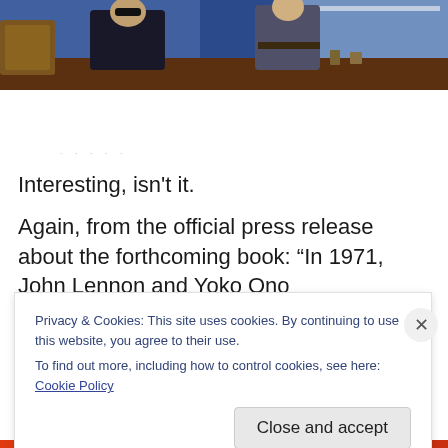[Figure (photo): People seated at a panel/desk on a stage with blue backdrop, ornate furniture visible on left]
· · · · ·
Interesting, isn't it.
Again, from the official press release about the forthcoming book: “In 1971, John Lennon and Yoko Ono
Privacy & Cookies: This site uses cookies. By continuing to use this website, you agree to their use.
To find out more, including how to control cookies, see here: Cookie Policy
Close and accept